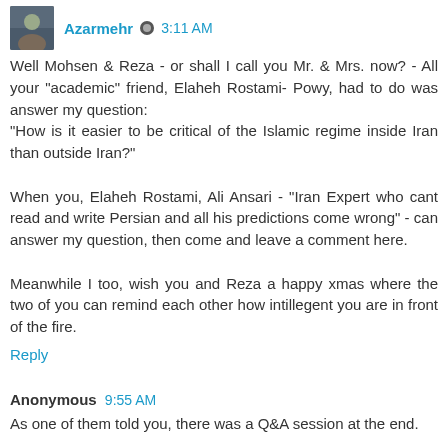Azarmehr  3:11 AM
Well Mohsen & Reza - or shall I call you Mr. & Mrs. now? - All your "academic" friend, Elaheh Rostami- Powy, had to do was answer my question:
"How is it easier to be critical of the Islamic regime inside Iran than outside Iran?"

When you, Elaheh Rostami, Ali Ansari - "Iran Expert who cant read and write Persian and all his predictions come wrong" - can answer my question, then come and leave a comment here.

Meanwhile I too, wish you and Reza a happy xmas where the two of you can remind each other how intillegent you are in front of the fire.
Reply
Anonymous  9:55 AM
As one of them told you, there was a Q&A session at the end.